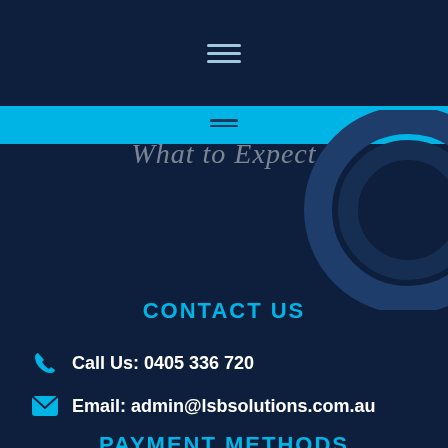[Figure (other): Navigation hamburger menu icon with three horizontal lines on dark navy background]
[Figure (other): Cyan horizontal banner strip across the page with two small dark lines and a large decorative circle watermark on the right side]
[Figure (other): Script/cursive text reading 'What to Expect' or similar phrase, partially obscured, in faded white on dark navy]
CONTACT US
Call Us: 0405 336 720
Email: admin@lsbsolutions.com.au
PAYMENT METHODS